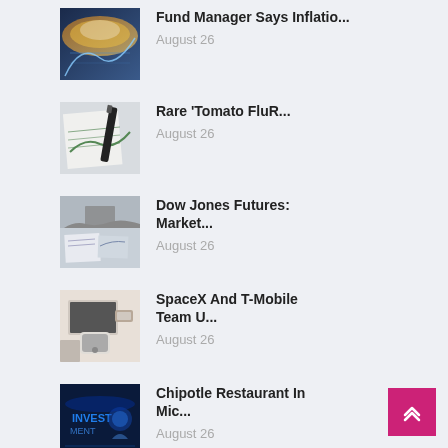[Figure (photo): Digital financial data visualization with clouds and lights]
Fund Manager Says Inflatio...
August 26
[Figure (photo): Hand writing on financial charts with a pen]
Rare 'Tomato FluR...
August 26
[Figure (photo): Business documents and charts on a desk with person standing]
Dow Jones Futures: Market...
August 26
[Figure (photo): Person holding smartphone at a desk with laptop and office items]
SpaceX And T-Mobile Team U...
August 26
[Figure (photo): Digital investment concept with blue glowing text and hand]
Chipotle Restaurant In Mic...
August 26